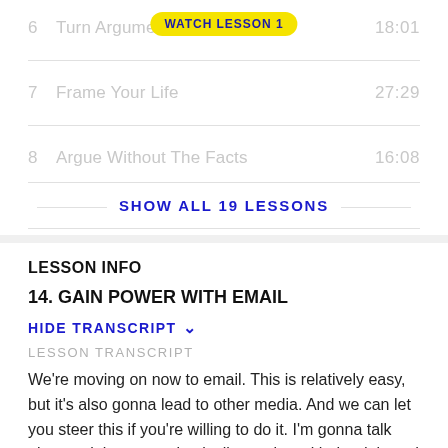6   Turn Argume...   18:01
7   Frame Your Life   27:29
8   Argue Without The Facts   16:08
SHOW ALL 19 LESSONS
LESSON INFO
14. GAIN POWER WITH EMAIL
HIDE TRANSCRIPT ▼
LESSON TRANSCRIPT
We're moving on now to email. This is relatively easy, but it's also gonna lead to other media. And we can let you steer this if you're willing to do it. I'm gonna talk about gaining power basically starting with the do's and the don'ts. This is gonna be really easy. Use the...